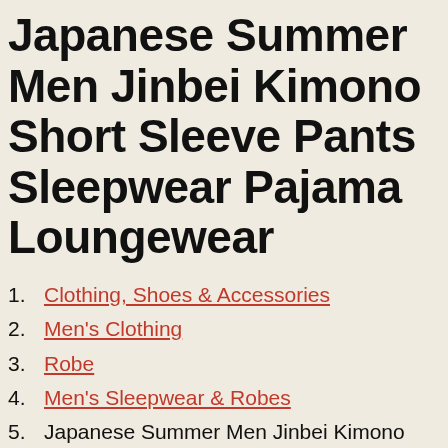Japanese Summer Men Jinbei Kimono Short Sleeve Pants Sleepwear Pajama Loungewear
1. Clothing, Shoes & Accessories
2. Men's Clothing
3. Robe
4. Men's Sleepwear & Robes
5. Japanese Summer Men Jinbei Kimono Short Sleeve Pants Sleepwear Pajama Loungewear